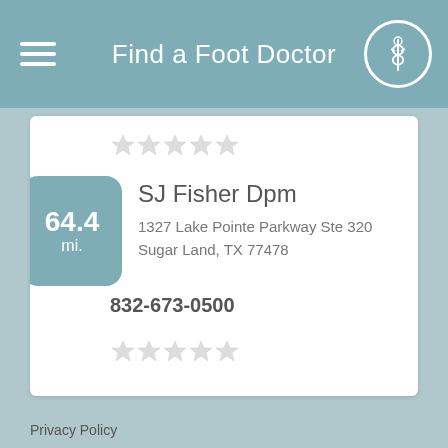Find a Foot Doctor
[Figure (other): Five grey star rating (empty) above doctor listing]
SJ Fisher Dpm
1327 Lake Pointe Parkway Ste 320
Sugar Land, TX 77478
832-673-0500
[Figure (other): Five grey star rating (empty) below phone number]
NOW HIRING
Podiatrists in Port Bolivar, TX
Looking for Podiatry jobs in Port Bolivar?
Click Here!
Privacy Policy